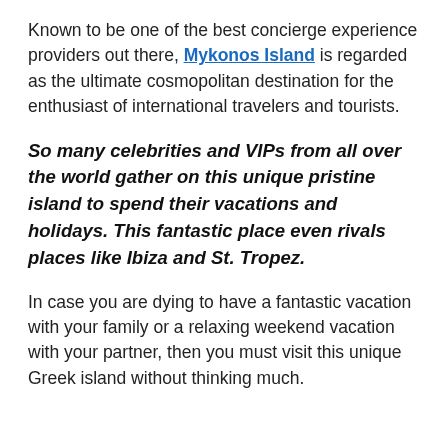Known to be one of the best concierge experience providers out there, Mykonos Island is regarded as the ultimate cosmopolitan destination for the enthusiast of international travelers and tourists.
So many celebrities and VIPs from all over the world gather on this unique pristine island to spend their vacations and holidays. This fantastic place even rivals places like Ibiza and St. Tropez.
In case you are dying to have a fantastic vacation with your family or a relaxing weekend vacation with your partner, then you must visit this unique Greek island without thinking much.